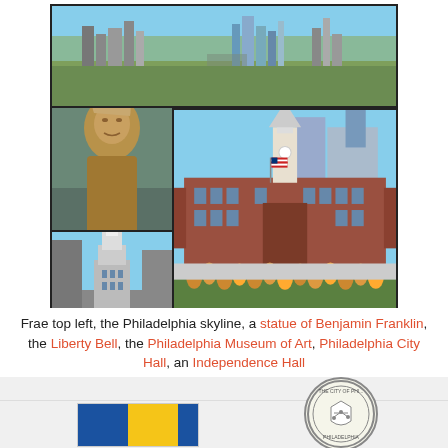[Figure (photo): Collage of Philadelphia landmarks: top row shows the Philadelphia skyline with green trees in foreground; middle row left shows a bronze statue of Benjamin Franklin, middle shows the Liberty Bell in front of brick buildings, right shows the Philadelphia Museum of Art with classical columns; bottom row left shows Philadelphia City Hall tower, right shows Independence Hall with red brick exterior and white steeple, American flag, and tulip garden in foreground.]
Frae top left, the Philadelphia skyline, a statue of Benjamin Franklin, the Liberty Bell, the Philadelphia Museum of Art, Philadelphia City Hall, an Independence Hall
[Figure (photo): Bottom strip showing two items partially visible: left is Philadelphia city flag (blue and yellow vertical stripes), right is the City of Philadelphia official seal (circular seal with text 'THE CITY OF PHI...' visible)]